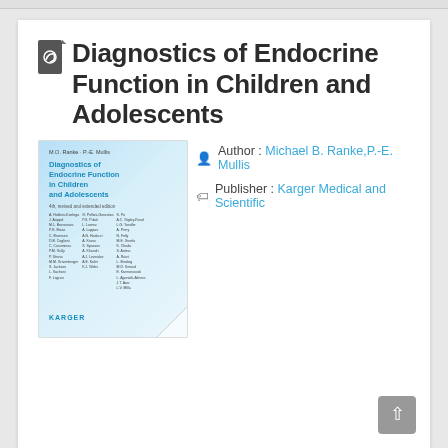Diagnostics of Endocrine Function in Children and Adolescents
[Figure (illustration): Book cover of 'Diagnostics of Endocrine Function in Children and Adolescents', published by Karger. Cover shows title in blue text on a light blue gradient background, with editors M.O. Ranke and P.-E. Mullis listed, and a list of contributing authors in two columns. A page curl is visible at the bottom right corner.]
Author : Michael B. Ranke,P.-E. Mullis
Publisher : Karger Medical and Scientific